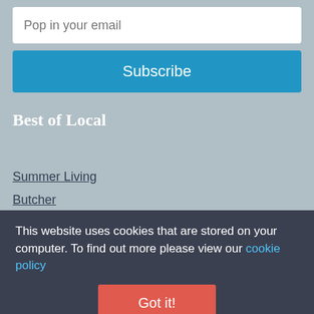Pop in your email
Subscribe
Best of Local
Summer Living
Butcher
Baker
Greengrocer
Fishmonger
Deli
This website uses cookies that are stored on your computer. To find out more please view our cookie policy
Got it!